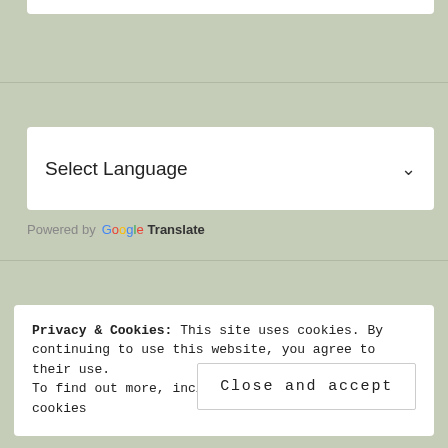[Figure (screenshot): Select Language dropdown widget with white background, showing text 'Select Language' and a downward chevron arrow on the right.]
Powered by Google Translate
Privacy & Cookies: This site uses cookies. By continuing to use this website, you agree to their use.
To find out more, including how to control cookies
Close and accept